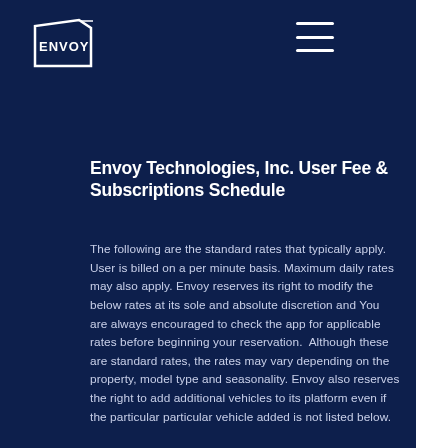[Figure (logo): Envoy logo — white text 'ENVOY' in a bold sans-serif inside a angular parallelogram/pentagon outline, white on dark navy background]
Envoy Technologies, Inc. User Fee & Subscriptions Schedule
The following are the standard rates that typically apply.  User is billed on a per minute basis. Maximum daily rates may also apply. Envoy reserves its right to modify the below rates at its sole and absolute discretion and You are always encouraged to check the app for applicable rates before beginning your reservation.  Although these are standard rates, the rates may vary depending on the property, model type and seasonality. Envoy also reserves the right to add additional vehicles to its platform even if the particular particular vehicle added is not listed below.